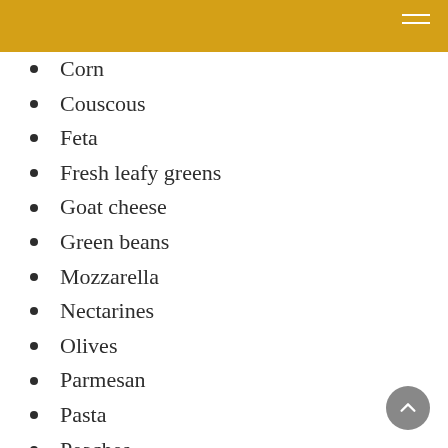Corn
Couscous
Feta
Fresh leafy greens
Goat cheese
Green beans
Mozzarella
Nectarines
Olives
Parmesan
Pasta
Peaches
Peas
Roasted eggplant